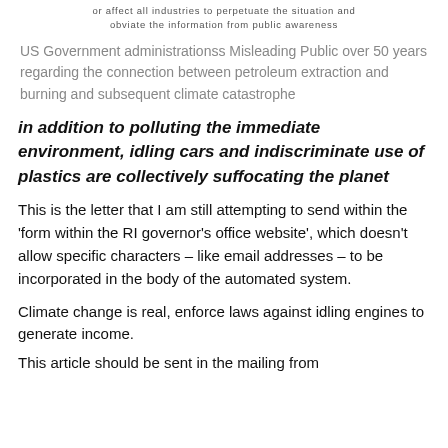or affect all industries to perpetuate the situation and obviate the information from public awareness
US Government administrationss Misleading Public over 50 years regarding the connection between petroleum extraction and burning and subsequent climate catastrophe
in addition to polluting the immediate environment, idling cars and indiscriminate use of plastics are collectively suffocating the planet
This is the letter that I am still attempting to send within the 'form within the RI governor's office website', which doesn't allow specific characters – like email addresses – to be incorporated in the body of the automated system.
Climate change is real, enforce laws against idling engines to generate income.
This article should be sent in the mailing from